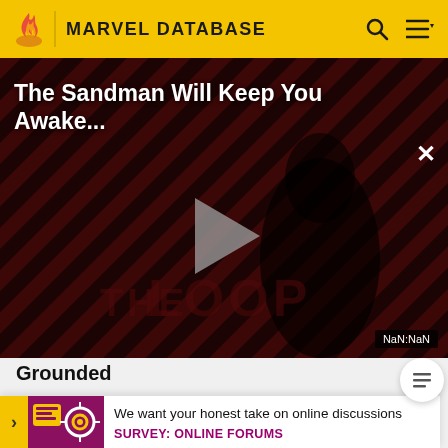MARVEL DATABASE
[Figure (screenshot): Video player showing 'The Sandman Will Keep You Awake...' with a dark figure in a red/black striped background. THE LOOP watermark visible. Play button in center. Timer shows NaN:NaN.]
Grounded
Follo trave Marve
[Figure (infographic): Survey advertisement: pink/purple image with icons. Text reads: We want your honest take on online discussions. SURVEY: ONLINE FORUMS]